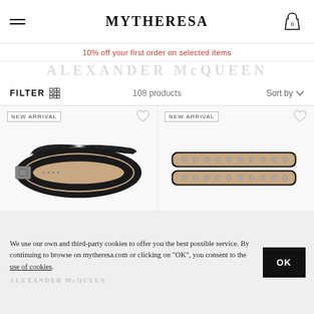MYTHERESA
10% off your first order on selected items
ALEXANDER McQUEEN
FILTER   108 products   Sort by
[Figure (photo): Black leather belt coiled, showing buckle and strap]
[Figure (photo): Black leather double belt with silver stud embellishments, coiled]
We use our own and third-party cookies to offer you the best possible service. By continuing to browse on mytheresa.com or clicking on "OK", you consent to the use of cookies.